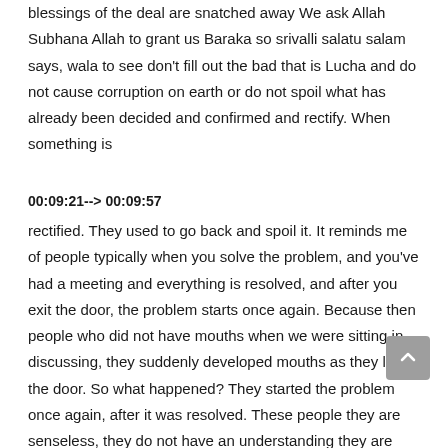blessings of the deal are snatched away We ask Allah Subhana Allah to grant us Baraka so srivalli salatu salam says, wala to see don't fill out the bad that is Lucha and do not cause corruption on earth or do not spoil what has already been decided and confirmed and rectify. When something is
00:09:21--> 00:09:57
rectified. They used to go back and spoil it. It reminds me of people typically when you solve the problem, and you've had a meeting and everything is resolved, and after you exit the door, the problem starts once again. Because then people who did not have mouths when we were sitting in discussing, they suddenly developed mouths as they left the door. So what happened? They started the problem once again, after it was resolved. These people they are senseless, they do not have an understanding they are falling prey to the devil and